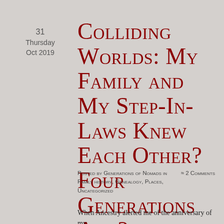31
Thursday
Oct 2019
Colliding Worlds: My Family and My Step-In-Laws Knew Each Other? Four Generations Ago?
Posted by Generations of Nomads in Family history, Genealogy, Places, Uncategorized   ≈ 2 Comments
When Ancestry alerted me of the anniversary of my